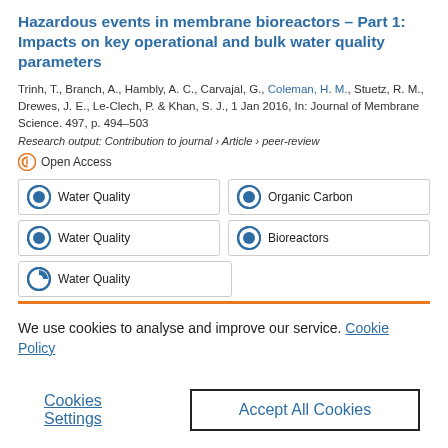Hazardous events in membrane bioreactors – Part 1: Impacts on key operational and bulk water quality parameters
Trinh, T., Branch, A., Hambly, A. C., Carvajal, G., Coleman, H. M., Stuetz, R. M., Drewes, J. E., Le-Clech, P. & Khan, S. J., 1 Jan 2016, In: Journal of Membrane Science. 497, p. 494-503
Research output: Contribution to journal › Article › peer-review
Open Access
Water Quality
Organic Carbon
Water Quality
Bioreactors
Water Quality
We use cookies to analyse and improve our service. Cookie Policy
Cookies Settings
Accept All Cookies